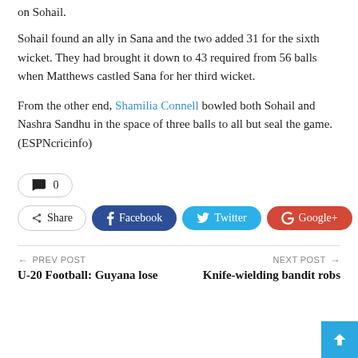on Sohail.
Sohail found an ally in Sana and the two added 31 for the sixth wicket. They had brought it down to 43 required from 56 balls when Matthews castled Sana for her third wicket.
From the other end, Shamilia Connell bowled both Sohail and Nashra Sandhu in the space of three balls to all but seal the game. (ESPNcricinfo)
💬 0
Share  Facebook  Twitter  Google+  +
← PREV POST
U-20 Football: Guyana lose
NEXT POST →
Knife-wielding bandit robs